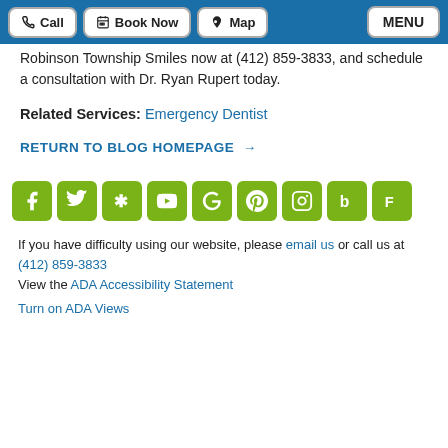Call | Book Now | Map | MENU
Robinson Township Smiles now at (412) 859-3833, and schedule a consultation with Dr. Ryan Rupert today.
Related Services: Emergency Dentist
RETURN TO BLOG HOMEPAGE →
[Figure (other): Row of 9 green social media icon buttons: Facebook, Twitter, Yelp, YouTube, Google, Pinterest, Instagram, Bing, Foursquare]
If you have difficulty using our website, please email us or call us at (412) 859-3833
View the ADA Accessibility Statement
Turn on ADA Views